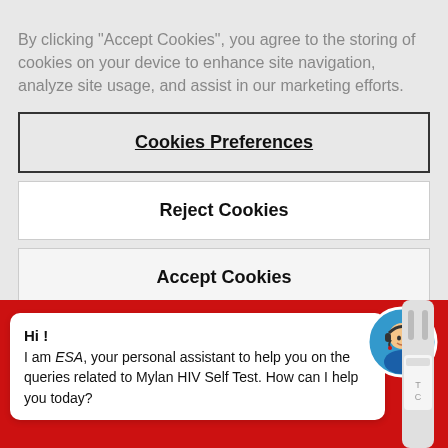By clicking “Accept Cookies”, you agree to the storing of cookies on your device to enhance site navigation, analyze site usage, and assist in our marketing efforts.
Cookies Preferences
Reject Cookies
Accept Cookies
Hi !
I am ESA, your personal assistant to help you on the queries related to Mylan HIV Self Test. How can I help you today?
[Figure (illustration): Red background panel with a circular avatar of a customer service agent wearing a headset, and a medical test strip device on the right side.]